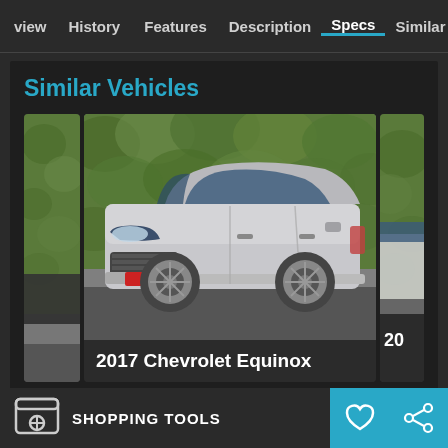view  History  Features  Description  Specs  Similar
Similar Vehicles
[Figure (photo): Silver 2017 Chevrolet Equinox SUV parked in front of a green ivy hedge wall, photographed from the front-left angle in a parking lot.]
2017 Chevrolet Equinox
SHOPPING TOOLS